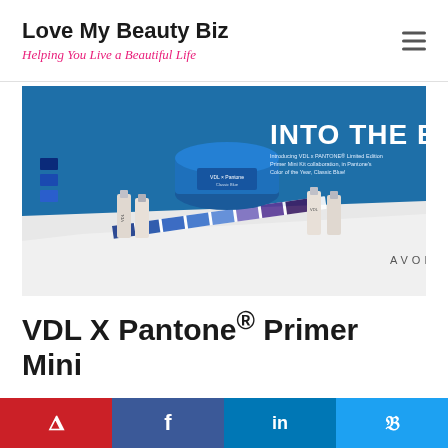Love My Beauty Biz — Helping You Live a Beautiful Life
[Figure (photo): VDL x Pantone Limited Edition Primer Mini Kit product advertisement showing blue-themed Avon products with Pantone color swatches and text 'INTO THE BLUE']
VDL X Pantone® Primer Mini